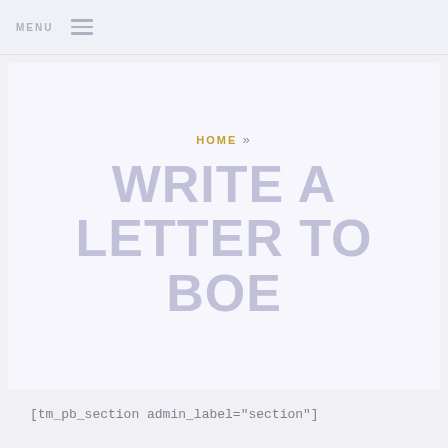MENU
HOME »
WRITE A LETTER TO BOE
[tm_pb_section admin_label="section"]